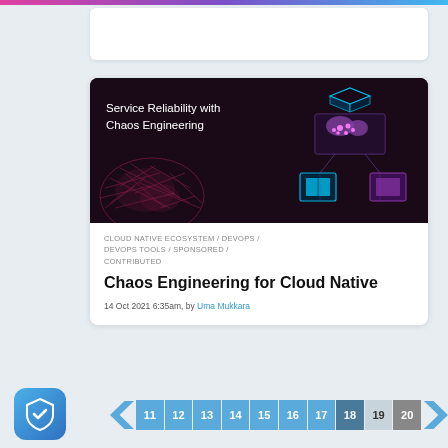[Figure (screenshot): Dark-themed article thumbnail showing text 'Service Reliability with Chaos Engineering' with a pink network sphere and glowing cyan/purple isometric server/cloud diagram on dark background.]
CLOUD NATIVE ECOSYSTEM / DEVOPS / DEVOPS TOOLS / SPONSORED / CONTRIBUTED
Chaos Engineering for Cloud Native
14 Oct 2021 6:35am, by Uma Mukkara
[Figure (infographic): Pagination bar with page numbers 11 through 20. Pages 11-18 shown in blue, page 19 in white/light, page 20 in grey as current. Left and right arrow navigation buttons.]